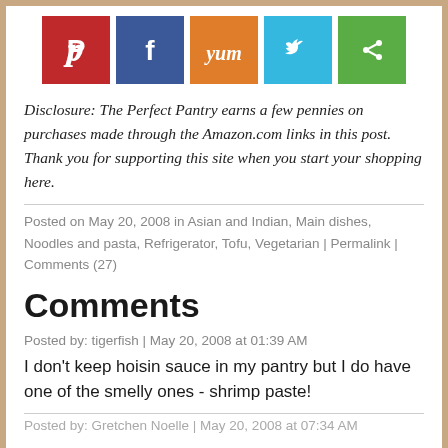[Figure (other): Row of five social media share buttons: Pinterest (red), Facebook (blue), Yummly (orange), Twitter (light blue), and a green share button]
Disclosure: The Perfect Pantry earns a few pennies on purchases made through the Amazon.com links in this post. Thank you for supporting this site when you start your shopping here.
Posted on May 20, 2008 in Asian and Indian, Main dishes, Noodles and pasta, Refrigerator, Tofu, Vegetarian | Permalink | Comments (27)
Comments
Posted by: tigerfish | May 20, 2008 at 01:39 AM
I don't keep hoisin sauce in my pantry but I do have one of the smelly ones - shrimp paste!
Posted by: Gretchen Noelle | May 20, 2008 at 07:34 AM